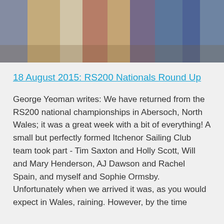[Figure (photo): Group photo of people standing outdoors, cropped at torso level showing various clothing styles including blue, white, red/maroon, and patterned outfits.]
18 August 2015: RS200 Nationals Round Up
George Yeoman writes: We have returned from the RS200 national championships in Abersoch, North Wales; it was a great week with a bit of everything! A small but perfectly formed Itchenor Sailing Club team took part - Tim Saxton and Holly Scott, Will and Mary Henderson, AJ Dawson and Rachel Spain, and myself and Sophie Ormsby. Unfortunately when we arrived it was, as you would expect in Wales, raining. However, by the time